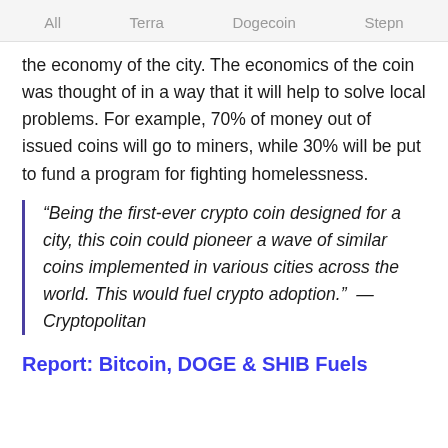All   Terra   Dogecoin   Stepn
the economy of the city. The economics of the coin was thought of in a way that it will help to solve local problems. For example, 70% of money out of issued coins will go to miners, while 30% will be put to fund a program for fighting homelessness.
“Being the first-ever crypto coin designed for a city, this coin could pioneer a wave of similar coins implemented in various cities across the world. This would fuel crypto adoption.”  — Cryptopolitan
Report: Bitcoin, DOGE & SHIB Fuels